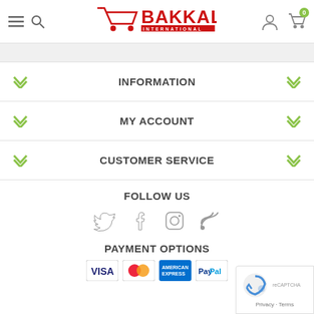[Figure (logo): Bakkal International logo with red shopping cart and bold red text]
INFORMATION
MY ACCOUNT
CUSTOMER SERVICE
FOLLOW US
[Figure (other): Social media icons: Twitter, Facebook, Instagram, RSS]
PAYMENT OPTIONS
[Figure (other): Payment option icons: Visa, Mastercard, American Express, PayPal]
[Figure (other): reCAPTCHA widget with Privacy and Terms links]